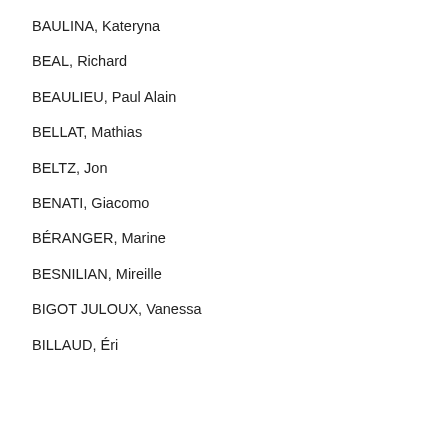BAULINA, Kateryna
BEAL, Richard
BEAULIEU, Paul Alain
BELLAT, Mathias
BELTZ, Jon
BENATI, Giacomo
BÉRANGER, Marine
BESNILIAN, Mireille
BIGOT JULOUX, Vanessa
BILLAUD, Éric